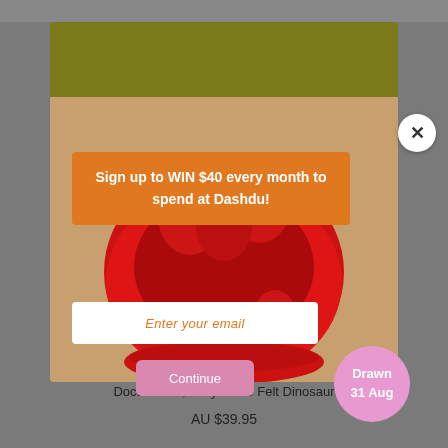[Figure (screenshot): E-commerce product page screenshot showing a felt strawberry toy basket product. A popup modal overlay is displayed over the product image. The modal contains an orange box with promotional text 'Sign up to WIN $40 every month to spend at Dashdu!', an email input field with placeholder 'Enter your email', a pink 'Continue' button, and a pink circle with text 'Drawn 31 Aug'. A white X close button appears in the top right of the modal. Below the modal the product title 'Doctor Dino, Grey Marle Felt Dinosaur' and price 'AU $39.95' are visible.]
Sign up to WIN $40 every month to spend at Dashdu!
Enter your email
Continue
Drawn 31 Aug
Doctor Dino, Grey Marle Felt Dinosaur
AU $39.95